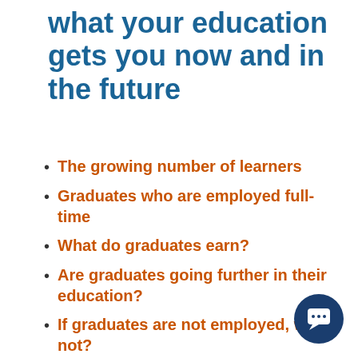what your education gets you now and in the future
The growing number of learners
Graduates who are employed full-time
What do graduates earn?
Are graduates going further in their education?
If graduates are not employed, why not?
Are learners satisfied with their education?
Data sources and challenges